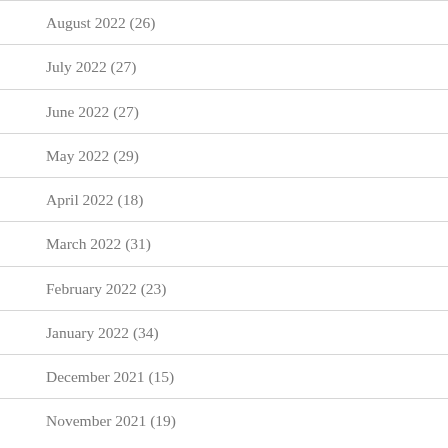August 2022 (26)
July 2022 (27)
June 2022 (27)
May 2022 (29)
April 2022 (18)
March 2022 (31)
February 2022 (23)
January 2022 (34)
December 2021 (15)
November 2021 (19)